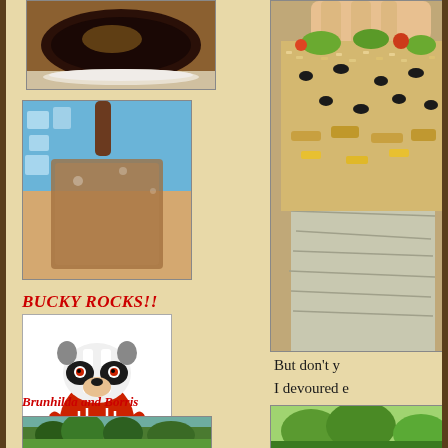[Figure (photo): Top-down view of a coffee cup with foam/latte art on a white saucer]
[Figure (photo): Iced coffee being poured into a glass with ice, blue background with water splash]
BUCKY ROCKS!!
[Figure (illustration): Bucky Badger mascot illustration - Wisconsin Badgers mascot wearing red sweater with W]
Brunhilda and Borris
[Figure (photo): Landscape photo showing trees and greenery]
[Figure (photo): Close-up of a burrito/bowl with rice, black beans, chicken, cheese, guacamole wrapped in foil being held by hand]
But don't y
I devoured e
[Figure (photo): Green vegetable or plant close-up photo]